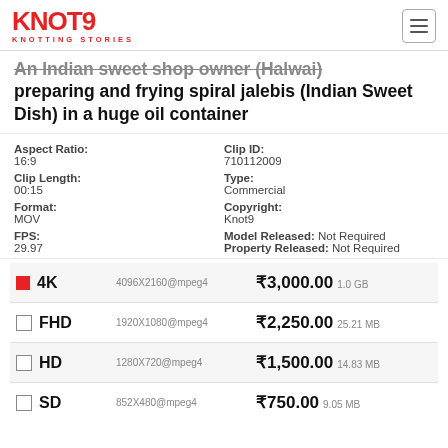KNOT9 KNOTTING STORIES
An Indian sweet shop owner (Halwai) preparing and frying spiral jalebis (Indian Sweet Dish) in a huge oil container
| Field | Value |
| --- | --- |
| Aspect Ratio: | 16:9 |
| Clip ID: | 710112009 |
| Clip Length: | 00:15 |
| Type: | Commercial |
| Format: | MOV |
| Copyright: | Knot9 |
| FPS: | 29.97 |
| Model Released: | Not Required |
| Property Released: | Not Required |
| Resolution | Spec | Price | Size |
| --- | --- | --- | --- |
| 4K | 4096X2160@mpeg4 | ₹3,000.00 | 1.0GB |
| FHD | 1920X1080@mpeg4 | ₹2,250.00 | 25.21MB |
| HD | 1280X720@mpeg4 | ₹1,500.00 | 14.83MB |
| SD | 852X480@mpeg4 | ₹750.00 | 9.05MB |